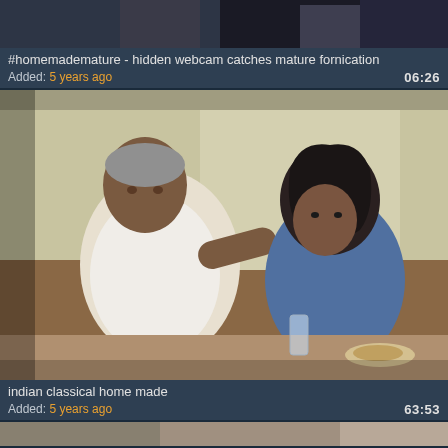[Figure (photo): Top portion of video thumbnail showing dark/blurred scene, partially cropped]
#homemademature - hidden webcam catches mature fornication
Added: 5 years ago   06:26
[Figure (photo): Video thumbnail showing two people sitting on a couch/sofa in a home setting, older style low-quality video footage, indoor scene with food on table]
indian classical home made
Added: 5 years ago   63:53
[Figure (photo): Bottom strip of third video thumbnail, partially visible]